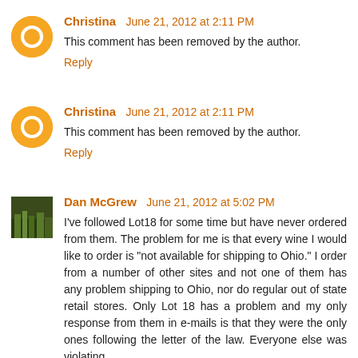Christina June 21, 2012 at 2:11 PM
This comment has been removed by the author.
Reply
Christina June 21, 2012 at 2:11 PM
This comment has been removed by the author.
Reply
Dan McGrew June 21, 2012 at 5:02 PM
I've followed Lot18 for some time but have never ordered from them. The problem for me is that every wine I would like to order is "not available for shipping to Ohio." I order from a number of other sites and not one of them has any problem shipping to Ohio, nor do regular out of state retail stores. Only Lot 18 has a problem and my only response from them in e-mails is that they were the only ones following the letter of the law. Everyone else was violating